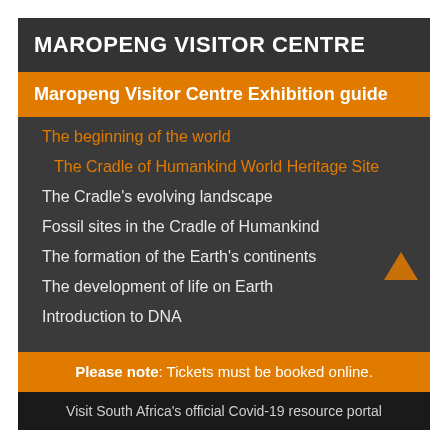MAROPENG VISITOR CENTRE
Maropeng Visitor Centre Exhibition guide
The beginning of the world
The Cradle of Humankind World Heritage Site
The Cradle's evolving landscape
Fossil sites in the Cradle of Humankind
The formation of the Earth's continents
The development of life on Earth
Introduction to DNA
Please note: Tickets must be booked online.
Visit South Africa's official Covid-19 resource portal